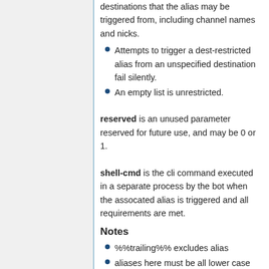destinations that the alias may be triggered from, including channel names and nicks.
Attempts to trigger a dest-restricted alias from an unspecified destination fail silently.
An empty list is unrestricted.
reserved is an unused parameter reserved for future use, and may be 0 or 1.
shell-cmd is the cli command executed in a separate process by the bot when the assocated alias is triggered and all requirements are met.
Notes
%%trailing%% excludes alias
aliases here must be all lower case